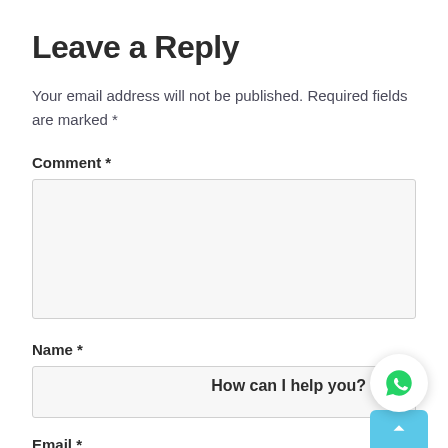Leave a Reply
Your email address will not be published. Required fields are marked *
Comment *
Name *
How can I help you?
Email *